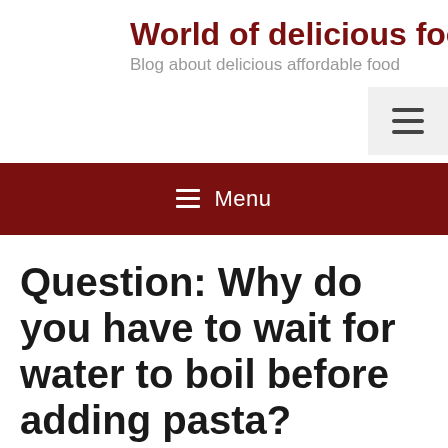World of delicious food
Blog about delicious affordable food
≡ Menu
Question: Why do you have to wait for water to boil before adding pasta?